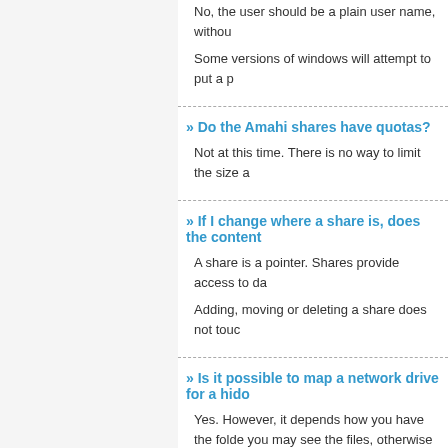No, the user should be a plain user name, withou
Some versions of windows will attempt to put a p
» Do the Amahi shares have quotas?
Not at this time. There is no way to limit the size a
» If I change where a share is, does the content
A share is a pointer. Shares provide access to da
Adding, moving or deleting a share does not touc
» Is it possible to map a network drive for a hido
Yes. However, it depends how you have the folde you may see the files, otherwise you may need to things inside it.